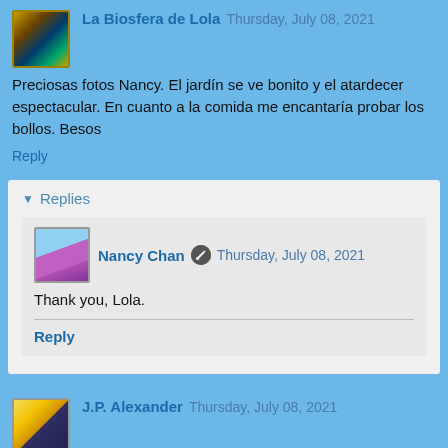La Biosfera de Lola  Thursday, July 08, 2021
Preciosas fotos Nancy. El jardín se ve bonito y el atardecer espectacular. En cuanto a la comida me encantaría probar los bollos. Besos
Reply
Replies
Nancy Chan  Thursday, July 08, 2021
Thank you, Lola.
Reply
J.P. Alexander  Thursday, July 08, 2021
Lindos arboles, y la comida genial amo las mazorcas en mi país se llaman choclo. Te mando un beso
Reply
Replies